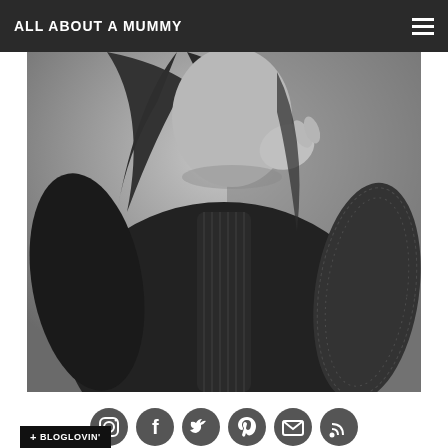ALL ABOUT A MUMMY
[Figure (photo): Black and white portrait photo of a woman wearing a dark lace-sleeved top, posed with hand near chin, hair down]
[Figure (infographic): Row of six circular social media icons: Instagram, Facebook, Twitter, Pinterest, Email, RSS feed]
[Figure (logo): Bloglovin button with plus sign and BLOGLOVIN text on dark background]